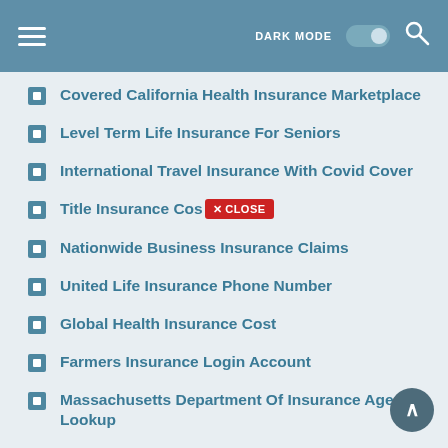DARK MODE [toggle] [search]
Covered California Health Insurance Marketplace
Level Term Life Insurance For Seniors
International Travel Insurance With Covid Cover
Title Insurance Cost [CLOSE]
Nationwide Business Insurance Claims
United Life Insurance Phone Number
Global Health Insurance Cost
Farmers Insurance Login Account
Massachusetts Department Of Insurance Agent Lookup
Title Insurance Texas Required
Kin Insurance Reviews Bbb
Senior Health Insurance Program Illinois